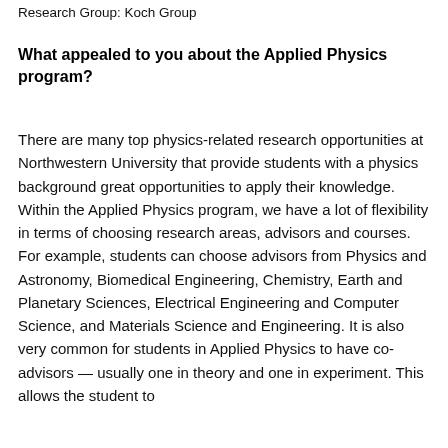Research Group: Koch Group
What appealed to you about the Applied Physics program?
There are many top physics-related research opportunities at Northwestern University that provide students with a physics background great opportunities to apply their knowledge. Within the Applied Physics program, we have a lot of flexibility in terms of choosing research areas, advisors and courses. For example, students can choose advisors from Physics and Astronomy, Biomedical Engineering, Chemistry, Earth and Planetary Sciences, Electrical Engineering and Computer Science, and Materials Science and Engineering. It is also very common for students in Applied Physics to have co-advisors — usually one in theory and one in experiment. This allows the student to